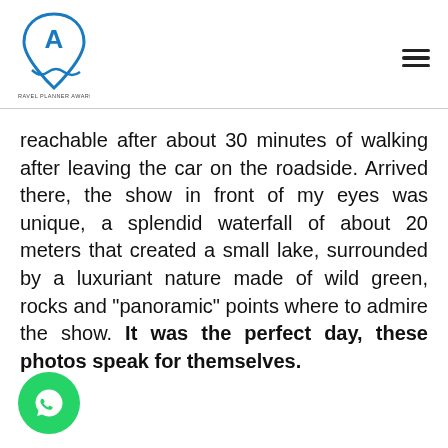[Figure (logo): Travel Planner Award logo: a map pin shape with letter A and wave, with text 'TRAVEL PLANNER AWARD' below]
reachable after about 30 minutes of walking after leaving the car on the roadside. Arrived there, the show in front of my eyes was unique, a splendid waterfall of about 20 meters that created a small lake, surrounded by a luxuriant nature made of wild green, rocks and "panoramic" points where to admire the show. It was the perfect day, these photos speak for themselves.
[Figure (logo): WhatsApp green circle logo with phone handset icon]